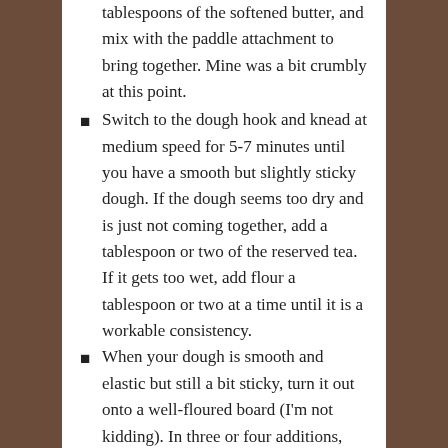tablespoons of the softened butter, and mix with the paddle attachment to bring together. Mine was a bit crumbly at this point.
Switch to the dough hook and knead at medium speed for 5-7 minutes until you have a smooth but slightly sticky dough. If the dough seems too dry and is just not coming together, add a tablespoon or two of the reserved tea. If it gets too wet, add flour a tablespoon or two at a time until it is a workable consistency.
When your dough is smooth and elastic but still a bit sticky, turn it out onto a well-floured board (I'm not kidding). In three or four additions, knead the drained fruit into the dough. I tried this in the mixer bowl with the dough hook, but it made a huge mess. By hand with flour and a dough scraper nearby is the best strategy.
With the fruit incorporated, form the dough into a loose ball and deposit it into a large bowl you've buttered with 1 tablespoon of the remaining softened butter. I used the stand mixer bowl; you don't even